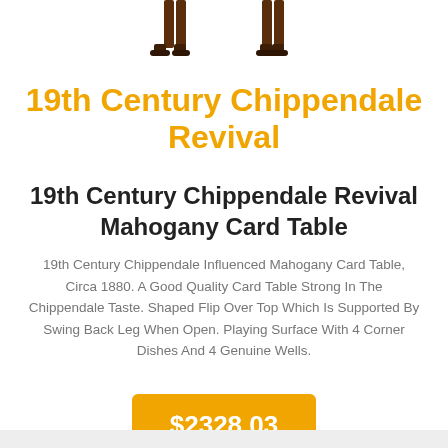[Figure (photo): Partial view of a mahogany card table's legs against a white background, cropped at the top of the page.]
19th Century Chippendale Revival
19th Century Chippendale Revival Mahogany Card Table
19th Century Chippendale Influenced Mahogany Card Table, Circa 1880. A Good Quality Card Table Strong In The Chippendale Taste. Shaped Flip Over Top Which Is Supported By Swing Back Leg When Open. Playing Surface With 4 Corner Dishes And 4 Genuine Wells.
$2328.03